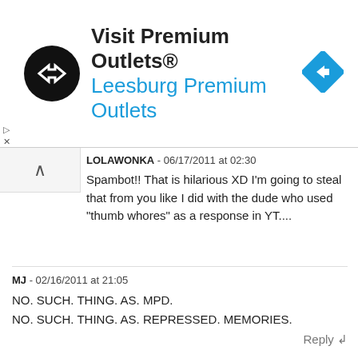[Figure (screenshot): Advertisement banner for Visit Premium Outlets® / Leesburg Premium Outlets, with black circular logo with arrow symbol on left, blue navigation diamond icon on right.]
LOLAWONKA - 06/17/2011 at 02:30
Spambot!! That is hilarious XD I'm going to steal that from you like I did with the dude who used "thumb whores" as a response in YT....
MJ - 02/16/2011 at 21:05
NO. SUCH. THING. AS. MPD.
NO. SUCH. THING. AS. REPRESSED. MEMORIES.
Reply ↲
Randy - 02/08/2011 at 04:56
I think it is a scam that these therapists are suggesting that